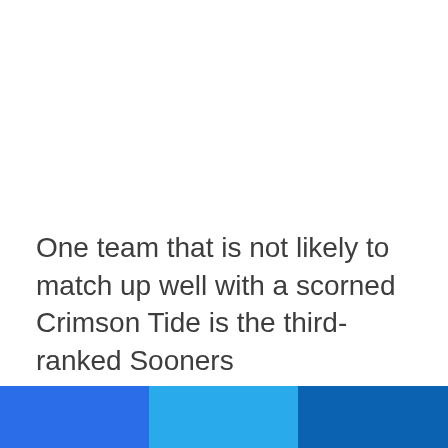One team that is not likely to match up well with a scorned Crimson Tide is the third-ranked Sooners
[Figure (other): Three horizontal color bar segments in blue shades: medium blue, light sky blue, and dark navy blue]